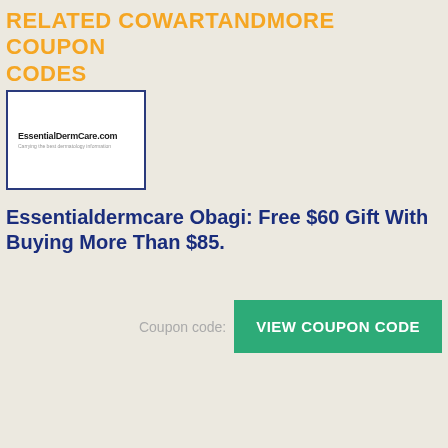RELATED COWARTANDMORE COUPON CODES
[Figure (logo): EssentialDermCare.com logo in a white box with blue border. Text reads 'EssentialDermCare.com' with a tagline below.]
Essentialdermcare Obagi: Free $60 Gift With Buying More Than $85.
Coupon code: VIEW COUPON CODE